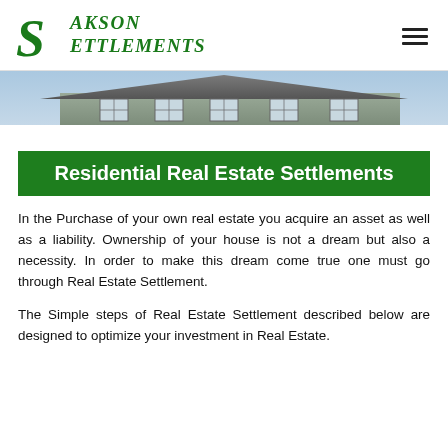Sakson Settlements
[Figure (photo): Exterior photo of a residential house, showing roof and upper facade with windows, sky blue background]
Residential Real Estate Settlements
In the Purchase of your own real estate you acquire an asset as well as a liability. Ownership of your house is not a dream but also a necessity. In order to make this dream come true one must go through Real Estate Settlement.
The Simple steps of Real Estate Settlement described below are designed to optimize your investment in Real Estate.